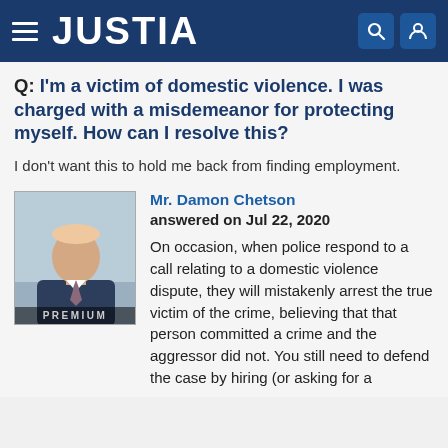JUSTIA
Q: I'm a victim of domestic violence. I was charged with a misdemeanor for protecting myself. How can I resolve this?
I don't want this to hold me back from finding employment.
[Figure (photo): Professional headshot of Mr. Damon Chetson, a man in a suit, with a PREMIUM label at the bottom of the photo.]
Mr. Damon Chetson
answered on Jul 22, 2020

On occasion, when police respond to a call relating to a domestic violence dispute, they will mistakenly arrest the true victim of the crime, believing that that person committed a crime and the aggressor did not. You still need to defend the case by hiring (or asking for a